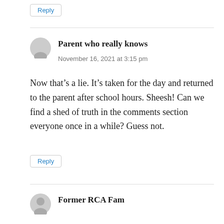Reply
Parent who really knows
November 16, 2021 at 3:15 pm
Now that’s a lie. It’s taken for the day and returned to the parent after school hours. Sheesh! Can we find a shed of truth in the comments section everyone once in a while? Guess not.
Reply
Former RCA Fam